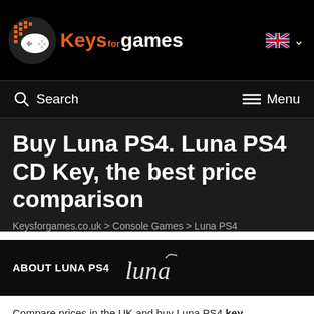Keysforgames logo | Search | Menu
Buy Luna PS4. Luna PS4 CD Key, the best price comparison
Keysforgames.co.uk > Console Games > Luna PS4
ABOUT LUNA PS4
Compare prices in the UK and buy Luna PS4 key